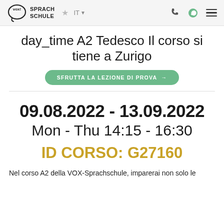VOX SPRACHSCHULE  ★  IT  ☎  WhatsApp  ☰
day_time A2 Tedesco Il corso si tiene a Zurigo
SFRUTTA LA LEZIONE DI PROVA →
09.08.2022 - 13.09.2022
Mon - Thu 14:15 - 16:30
ID CORSO: G27160
Nel corso A2 della VOX-Sprachschule, imparerai non solo le